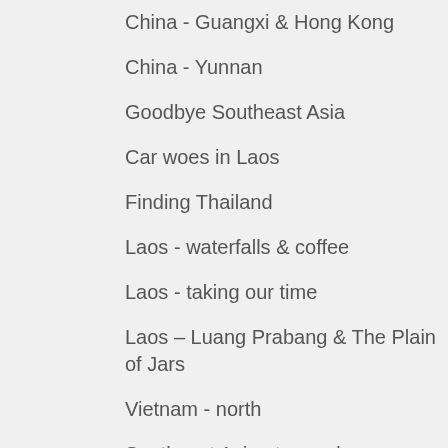China - Guangxi & Hong Kong
China - Yunnan
Goodbye Southeast Asia
Car woes in Laos
Finding Thailand
Laos - waterfalls & coffee
Laos - taking our time
Laos – Luang Prabang & The Plain of Jars
Vietnam - north
Southeast Asia at speed
Vietnam – south
Cambodia
Myanmar - upcountry & Bagan
Arriving in Myanmar – Yangon & Mandalay